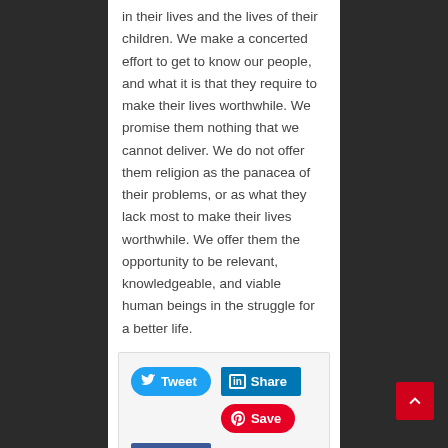in their lives and the lives of their children. We make a concerted effort to get to know our people, and what it is that they require to make their lives worthwhile. We promise them nothing that we cannot deliver. We do not offer them religion as the panacea of their problems, or as what they lack most to make their lives worthwhile. We offer them the opportunity to be relevant, knowledgeable, and viable human beings in the struggle for a better life.
[Figure (other): Social sharing buttons: Tweet (Twitter), Share (LinkedIn), Save (Pinterest), Like 0 (Facebook), and a back-to-top arrow button]